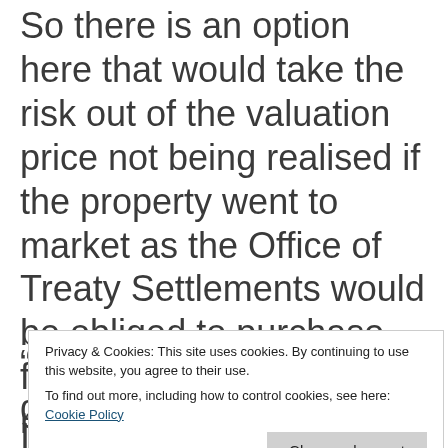So there is an option here that would take the risk out of the valuation price not being realised if the property went to market as the Office of Treaty Settlements would be obliged to purchase for no less than the latest registered valuation.
“That option would guarantee that
Privacy & Cookies: This site uses cookies. By continuing to use this website, you agree to their use. To find out more, including how to control cookies, see here: Cookie Policy
It would also provide a significant